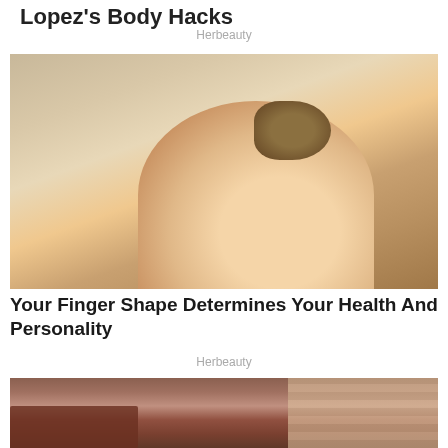Lopez's Body Hacks
Herbeauty
[Figure (photo): Close-up photo of a hand holding a small sprouted seed or plant bud between thumb and forefinger against a beige background]
Your Finger Shape Determines Your Health And Personality
Herbeauty
[Figure (photo): Photo of a person with head down in a living room setting with bookshelves and striped curtains in the background]